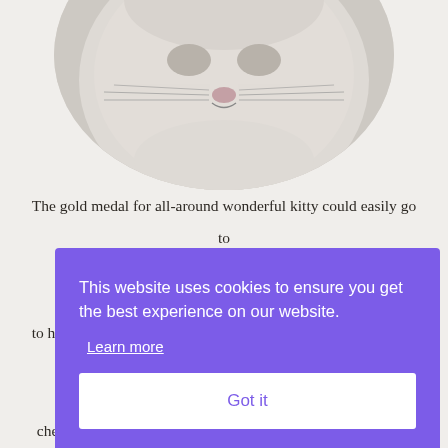[Figure (photo): Circular cropped black and white photo of a cat (Chicken Little) showing the face/head area from below — whiskers and nose visible.]
The gold medal for all-around wonderful kitty could easily go to darling Chicken Little! This cutiepie never misses an opportunity to hoot it up with her friends, explore any nook or cranny, and ma... o... ca... c... com... a... cherishes her. Precious Chicken Little would love to be your
This website uses cookies to ensure you get the best experience on our website.
Learn more
Got it